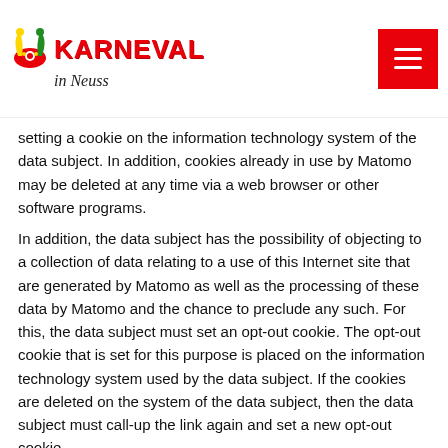Karneval in Neuss
setting a cookie on the information technology system of the data subject. In addition, cookies already in use by Matomo may be deleted at any time via a web browser or other software programs.
In addition, the data subject has the possibility of objecting to a collection of data relating to a use of this Internet site that are generated by Matomo as well as the processing of these data by Matomo and the chance to preclude any such. For this, the data subject must set an opt-out cookie. The opt-out cookie that is set for this purpose is placed on the information technology system used by the data subject. If the cookies are deleted on the system of the data subject, then the data subject must call-up the link again and set a new opt-out cookie.
With each setting of the opt-out cookie, however, there is the possibility that the websites of the controller are no longer fully usable for the data subject.
Further information and the applicable data protection provisions